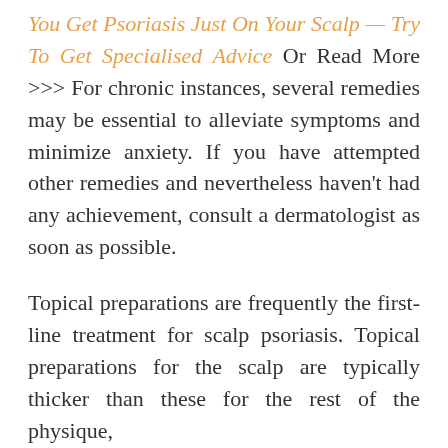You Get Psoriasis Just On Your Scalp — Try To Get Specialised Advice Or Read More >>> For chronic instances, several remedies may be essential to alleviate symptoms and minimize anxiety. If you have attempted other remedies and nevertheless haven't had any achievement, consult a dermatologist as soon as possible.
Topical preparations are frequently the first-line treatment for scalp psoriasis. Topical preparations for the scalp are typically thicker than these for the rest of the physique,
We use cookies on our website to give you the most relevant experience by remembering your preferences and repeat visits. By clicking "Accept All", you consent to the use of ALL the cookies. However, you may visit "Cookie Settings" to provide a controlled consent.